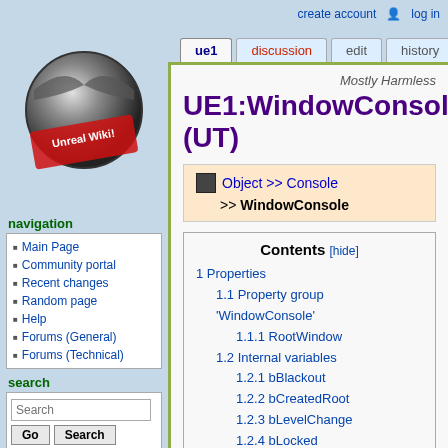create account  log in
ue1  discussion  edit  history
[Figure (logo): Unreal Wiki logo — metallic sphere with red stamp overlay reading 'Unreal Wiki!']
navigation
Main Page
Community portal
Recent changes
Random page
Help
Forums (General)
Forums (Technical)
search
tools
What links here
Related changes
Mostly Harmless
UE1:WindowConsole (UT)
Object >> Console >> WindowConsole
| Contents [hide] |
| --- |
| 1 Properties |
| 1.1 Property group 'WindowConsole' |
| 1.1.1 RootWindow |
| 1.2 Internal variables |
| 1.2.1 bBlackout |
| 1.2.2 bCreatedRoot |
| 1.2.3 bLevelChange |
| 1.2.4 bLocked |
| 1.2.5 bQuickKeyEnable |
| 1.2.6 bShowConsole |